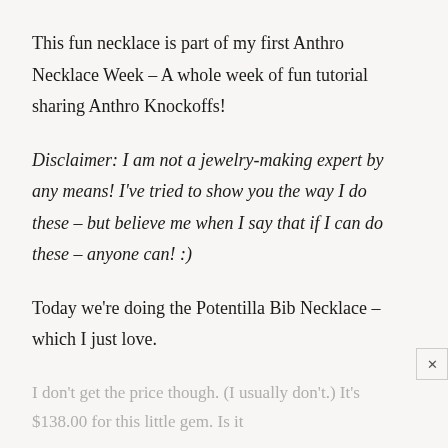This fun necklace is part of my first Anthro Necklace Week – A whole week of fun tutorial sharing Anthro Knockoffs!
Disclaimer: I am not a jewelry-making expert by any means! I've tried to show you the way I do these – but believe me when I say that if I can do these – anyone can! :)
Today we're doing the Potentilla Bib Necklace – which I just love.
I don't get the price though. (I usually don't.) It's $138.00 for this little gem. Is it